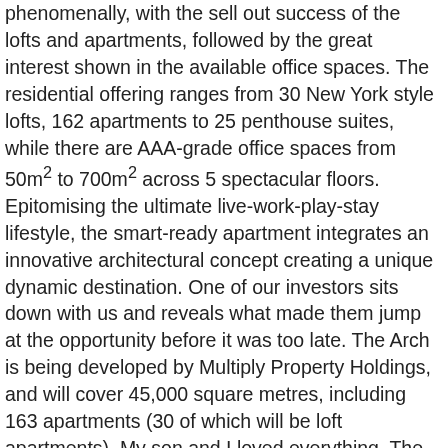phenomenally, with the sell out success of the lofts and apartments, followed by the great interest shown in the available office spaces. The residential offering ranges from 30 New York style lofts, 162 apartments to 25 penthouse suites, while there are AAA-grade office spaces from 50m² to 700m² across 5 spectacular floors. Epitomising the ultimate live-work-play-stay lifestyle, the smart-ready apartment integrates an innovative architectural concept creating a unique dynamic destination. One of our investors sits down with us and reveals what made them jump at the opportunity before it was too late. The Arch is being developed by Multiply Property Holdings, and will cover 45,000 square metres, including 163 apartments (30 of which will be loft apartments). My son and I loved everything. The open-plan New York style lofts all come with 1 mezzanine level bedroom and 1 bathroom. Durban alone is one of the biggest contributors to the Airbnb growth, as it shows 106% year-on-year growth in guest arrivals. A